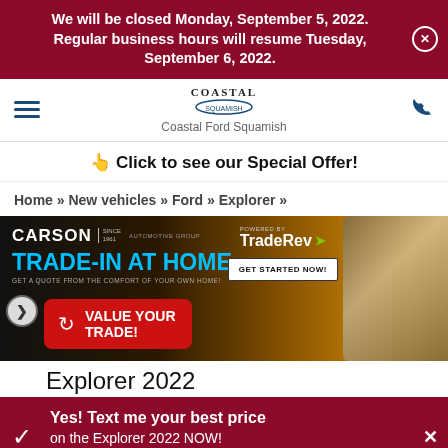We will be closed Monday, September 5, 2022. Regular business hours will resume Tuesday, September 6, 2022.
[Figure (logo): Coastal Ford Squamish logo with hamburger menu and phone icon navigation bar]
Click to see our Special Offer!
Home » New vehicles » Ford » Explorer »
[Figure (infographic): Carson Automotive Group Trade-In At Home banner powered by TradeRev with GET STARTED NOW button and VALUE YOUR TRADE red button overlay]
Explorer 2022
Yes! Text me your best price on the Explorer 2022 NOW! Click here.